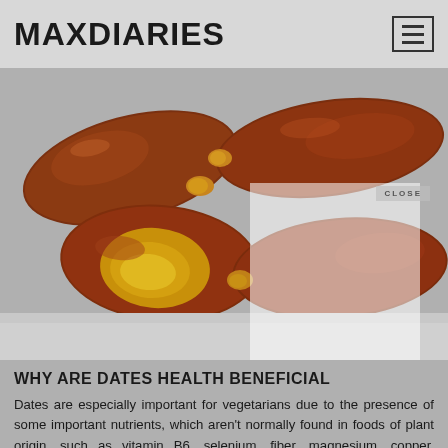MAXDIARIES
[Figure (photo): Close-up photo of several medjool dates on a light grey background. The dates are dark reddish-brown, glossy, and plump. A semi-transparent white overlay panel appears in the lower-right portion of the image with a 'CLOSE' label.]
WHY ARE DATES HEALTH BENEFICIAL
Dates are especially important for vegetarians due to the presence of some important nutrients, which aren't normally found in foods of plant origin, such as vitamin B6, selenium, fiber, magnesium, copper, potassium and manganese, among other.